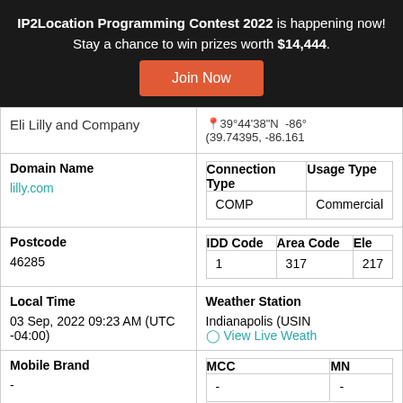IP2Location Programming Contest 2022 is happening now! Stay a chance to win prizes worth $14,444. Join Now
| Field | Value |
| --- | --- |
| Eli Lilly and Company | 📍39°44'38"N  -86° (39.74395, -86.161 |
| Domain Name / Connection Type / Usage Type | lilly.com / COMP / Commercial |
| Postcode / IDD Code / Area Code / Ele | 46285 / 1 / 317 / 217 |
| Local Time / Weather Station | 03 Sep, 2022 09:23 AM (UTC -04:00) / Indianapolis (USIN / View Live Weath |
| Mobile Brand / MCC / MN | - / - / - |
| Address Type / Category | (U) Unicast / (IAB7-20) Diabetes |